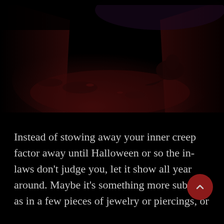[Figure (photo): Dark horror-themed photograph showing a dimly lit scene with deep red tones. A figure appears to be crouched or fallen in what looks like a dark room or container with red walls/floors and scattered debris. The image is very dark with crimson and black color palette.]
Instead of stowing away your inner creep factor away until Halloween or so the in-laws don't judge you, let it show all year around. Maybe it's something more subtle as in a few pieces of jewelry or piercings, or